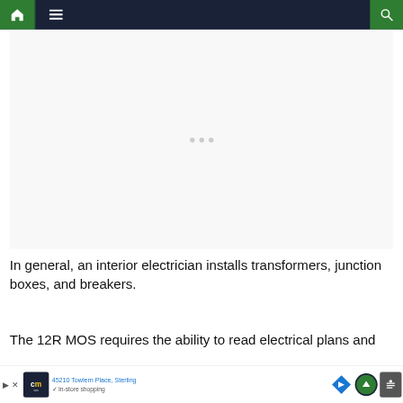[Figure (screenshot): Website navigation bar with green home icon on left, dark navy menu area with hamburger icon, and green search icon on right]
[Figure (photo): Large image placeholder area with three small gray dots in the center, white/light gray background]
In general, an interior electrician installs transformers, junction boxes, and breakers.
The 12R MOS requires the ability to read electrical plans and
[Figure (screenshot): Advertisement banner: CM logo in navy box, address 45210 Towlern Place, Sterling, In-store shopping checkmark, blue direction sign, green circle back-to-top button, weather widget]